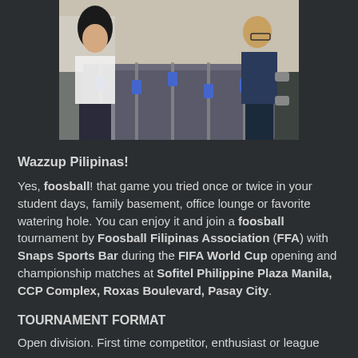[Figure (photo): Two people playing foosball on a table soccer game. A woman in white top on the left and a man in dark clothing on the right, playing at a foosball table with blue player figures.]
Wazzup Pilipinas!
Yes, foosball! that game you tried once or twice in your student days, family basement, office lounge or favorite watering hole. You can enjoy it and join a foosball tournament by Foosball Filipinas Association (FFA) with Snaps Sports Bar during the FIFA World Cup opening and championship matches at Sofitel Philippine Plaza Manila, CCP Complex, Roxas Boulevard, Pasay City.
TOURNAMENT FORMAT
Open division. First time competitor, enthusiast or league